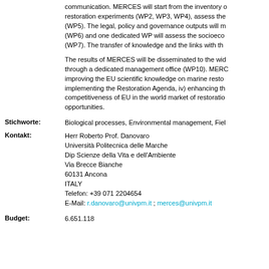communication. MERCES will start from the inventory of restoration experiments (WP2, WP3, WP4), assess the (WP5). The legal, policy and governance outputs will m (WP6) and one dedicated WP will assess the socioeco (WP7). The transfer of knowledge and the links with th
The results of MERCES will be disseminated to the wid through a dedicated management office (WP10). MERC improving the EU scientific knowledge on marine resto implementing the Restoration Agenda, iv) enhancing th competitiveness of EU in the world market of restoratio opportunities.
Stichworte: Biological processes, Environmental management, Fiel
Kontakt: Herr Roberto Prof. Danovaro
Università Politecnica delle Marche
Dip Scienze della Vita e dell'Ambiente
Via Brecce Bianche
60131 Ancona
ITALY
Telefon: +39 071 2204654
E-Mail: r.danovaro@univpm.it ; merces@univpm.it
Budget: 6.651.118